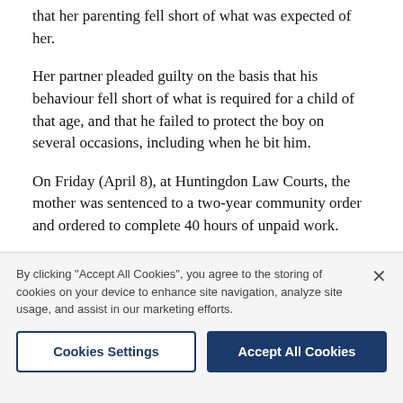that her parenting fell short of what was expected of her.
Her partner pleaded guilty on the basis that his behaviour fell short of what is required for a child of that age, and that he failed to protect the boy on several occasions, including when he bit him.
On Friday (April 8), at Huntingdon Law Courts, the mother was sentenced to a two-year community order and ordered to complete 40 hours of unpaid work.
A mental health treatment order and a 40-day rehabilitation activity requirement was also included.
Her former partner also received...
By clicking "Accept All Cookies", you agree to the storing of cookies on your device to enhance site navigation, analyze site usage, and assist in our marketing efforts.